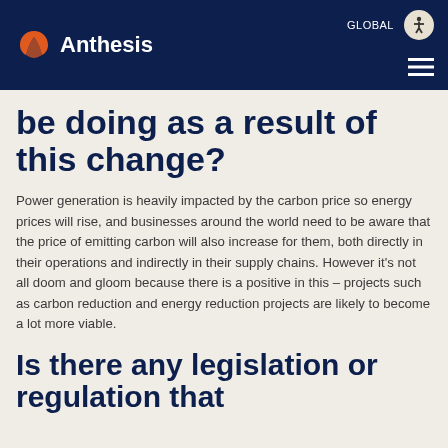Anthesis | GLOBAL
be doing as a result of this change?
Power generation is heavily impacted by the carbon price so energy prices will rise, and businesses around the world need to be aware that the price of emitting carbon will also increase for them, both directly in their operations and indirectly in their supply chains. However it’s not all doom and gloom because there is a positive in this – projects such as carbon reduction and energy reduction projects are likely to become a lot more viable.
Is there any legislation or regulation that